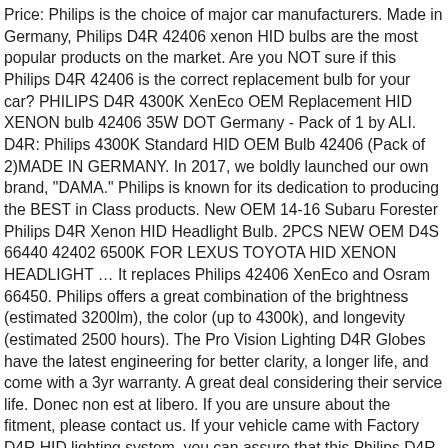Price: Philips is the choice of major car manufacturers. Made in Germany, Philips D4R 42406 xenon HID bulbs are the most popular products on the market. Are you NOT sure if this Philips D4R 42406 is the correct replacement bulb for your car? PHILIPS D4R 4300K XenEco OEM Replacement HID XENON bulb 42406 35W DOT Germany - Pack of 1 by ALI. D4R: Philips 4300K Standard HID OEM Bulb 42406 (Pack of 2)MADE IN GERMANY. In 2017, we boldly launched our own brand, "DAMA." Philips is known for its dedication to producing the BEST in Class products. New OEM 14-16 Subaru Forester Philips D4R Xenon HID Headlight Bulb. 2PCS NEW OEM D4S 66440 42402 6500K FOR LEXUS TOYOTA HID XENON HEADLIGHT … It replaces Philips 42406 XenEco and Osram 66450. Philips offers a great combination of the brightness (estimated 3200lm), the color (up to 4300k), and longevity (estimated 2500 hours). The Pro Vision Lighting D4R Globes have the latest engineering for better clarity, a longer life, and come with a 3yr warranty. A great deal considering their service life. Donec non est at libero. If you are unsure about the fitment, please contact us. If your vehicle came with Factory D4R HID lighting system, you can assure that this Philips D4R is the right replacement bulb for you. Philips Xenon HID lights deliver twice as much light as Halogen bulbs but consume less power. Therefore it is the ideal replacement lamp and … 2x New OEM Philips XenEco D4R 42406 Xenon HID Headlight Bulb. OEM SPEC: As the industry leading OEM Source D4R bulb, the Philips 42406 series...